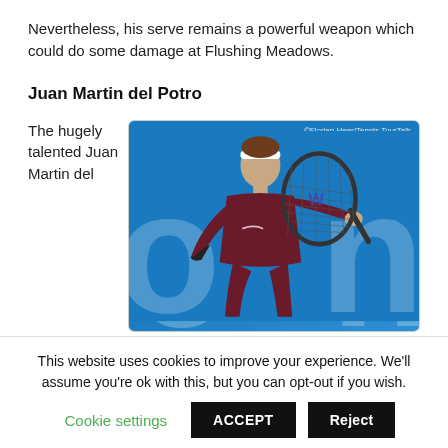Nevertheless, his serve remains a powerful weapon which could do some damage at Flushing Meadows.
Juan Martin del Potro
The hugely talented Juan Martin del
[Figure (photo): Juan Martin del Potro holding a Wilson tennis racket, wearing a dark maroon Nike outfit and white headband, in front of a blue background with letters. Photo credit: ©Florian Heer/Tennis TourTalk]
This website uses cookies to improve your experience. We'll assume you're ok with this, but you can opt-out if you wish.
Cookie settings   ACCEPT   Reject